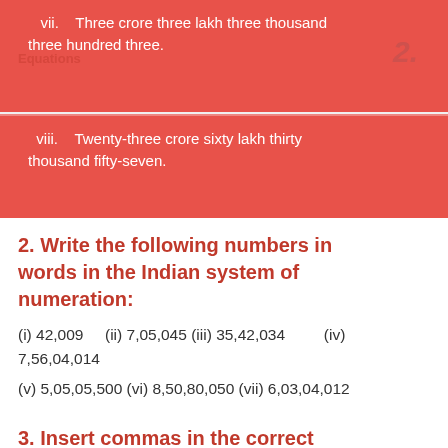vii. Three crore three lakh three thousand three hundred three.
viii. Twenty-three crore sixty lakh thirty thousand fifty-seven.
2. Write the following numbers in words in the Indian system of numeration:
(i) 42,009 (ii) 7,05,045 (iii) 35,42,034 (iv) 7,56,04,014
(v) 5,05,05,500 (vi) 8,50,80,050 (vii) 6,03,04,012
3. Insert commas in the correct positions to separate periods and write the following number in words: